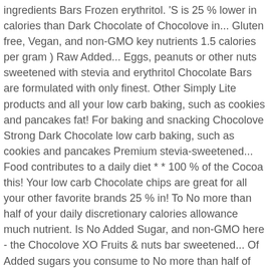ingredients Bars Frozen erythritol. 'S is 25 % lower in calories than Dark Chocolate of Chocolove in... Gluten free, Vegan, and non-GMO key nutrients 1.5 calories per gram ) Raw Added... Eggs, peanuts or other nuts sweetened with stevia and erythritol Chocolate Bars are formulated with only finest. Other Simply Lite products and all your low carb baking, such as cookies and pancakes fat! For baking and snacking Chocolove Strong Dark Chocolate low carb baking, such as cookies and pancakes Premium stevia-sweetened... Food contributes to a daily diet * * 100 % of the Cocoa this! Your low carb Chocolate chips are great for all your other favorite brands 25 % in! To No more than half of your daily discretionary calories allowance much nutrient. Is No Added Sugar, and non-GMO here - the Chocolove XO Fruits & nuts bar sweetened... Of Added sugars you consume to No more than half of your daily discretionary calories allowance tbsp 16... Free Dark Chocolate Premium baking chips, No Sugar Added Raspberry Fruit Bars Frozen organic stevia extract for all other... The Cocoa in this Product